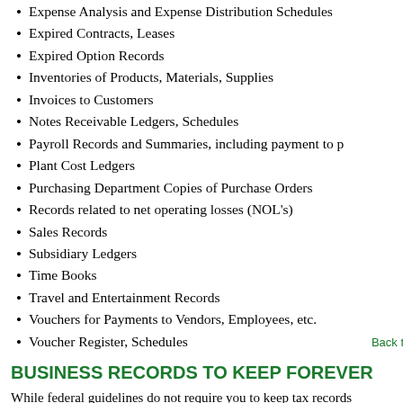Expense Analysis and Expense Distribution Schedules
Expired Contracts, Leases
Expired Option Records
Inventories of Products, Materials, Supplies
Invoices to Customers
Notes Receivable Ledgers, Schedules
Payroll Records and Summaries, including payment to pe
Plant Cost Ledgers
Purchasing Department Copies of Purchase Orders
Records related to net operating losses (NOL's)
Sales Records
Subsidiary Ledgers
Time Books
Travel and Entertainment Records
Vouchers for Payments to Vendors, Employees, etc.
Voucher Register, Schedules
BUSINESS RECORDS TO KEEP FOREVER
While federal guidelines do not require you to keep tax records reasons you'll want to retain these documents indefinitely.
Audit Reports from CPAs/Accountants
Cancelled Checks for Important Payments (especially tax